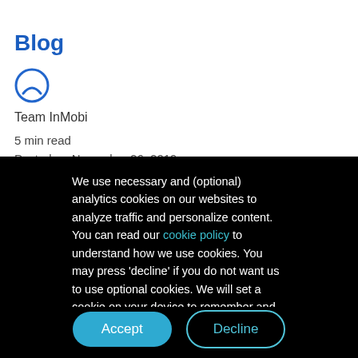InMobi
Blog
[Figure (logo): InMobi circular logo icon in blue outline]
Team InMobi
5 min read
Posted on November 26, 2019
We use necessary and (optional) analytics cookies on our websites to analyze traffic and personalize content. You can read our cookie policy to understand how we use cookies. You may press 'decline' if you do not want us to use optional cookies. We will set a cookie on your device to remember and honor your preference.
Accept | Decline